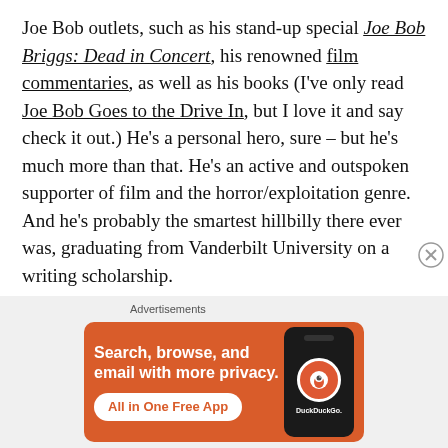Joe Bob outlets, such as his stand-up special Joe Bob Briggs: Dead in Concert, his renowned film commentaries, as well as his books (I've only read Joe Bob Goes to the Drive In, but I love it and say check it out.) He's a personal hero, sure – but he's much more than that. He's an active and outspoken supporter of film and the horror/exploitation genre. And he's probably the smartest hillbilly there ever was, graduating from Vanderbilt University on a writing scholarship.
So Joe Bob, this one's for you. An endless amount thanks is due to you for your contributions to the horror and exploitation scene, and for showing that
[Figure (infographic): DuckDuckGo advertisement banner with orange background. Text reads: Search, browse, and email with more privacy. All in One Free App. Shows a phone mockup with DuckDuckGo logo.]